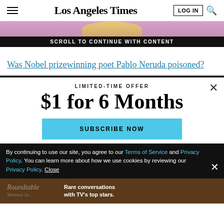Los Angeles Times
SCROLL TO CONTINUE WITH CONTENT
Was Nobel prizewinning poet Pablo Neruda poisoned?
LIMITED-TIME OFFER
$1 for 6 Months
SUBSCRIBE NOW
By continuing to use our site, you agree to our Terms of Service and Privacy Policy. You can learn more about how we use cookies by reviewing our Privacy Policy. Close
Rare conversations with TV's top stars.